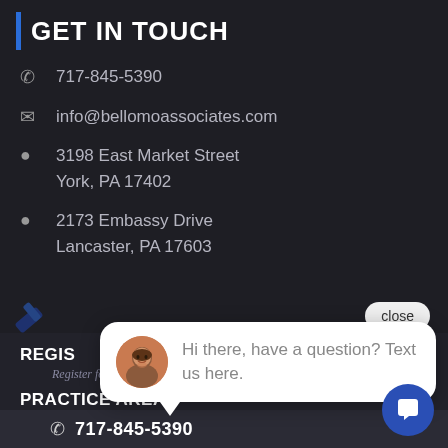GET IN TOUCH
717-845-5390
info@bellomoassociates.com
3198 East Market Street
York, PA 17402
2173 Embassy Drive
Lancaster, PA 17603
REGISTER
Register for our free workshop
PRACTICE AREAS
Let us he...
717-845-5390
[Figure (screenshot): Chat popup overlay with avatar photo and message: 'Hi there, have a question? Text us here.' with a close button and chat widget button.]